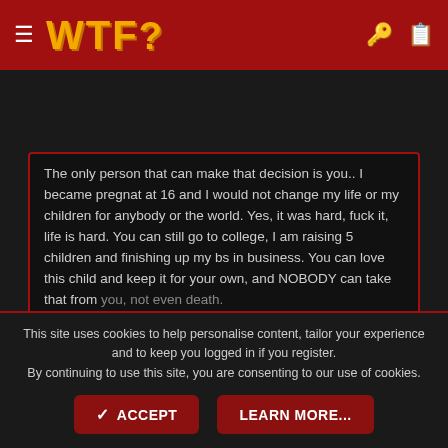WTF?
The only person that can make that decision is you.. I became pregnat at 16 and I would not change my life or my children for anybody or the world. Yes, it was hard, fuck it, life is hard. You can still go to college, I am raising 5 children and finishing up my bs in business. You can love this child and keep it for your own, and NOBODY can take that from you, not even death.

Click to expand...
role model^^^
stick in there, ask for help from your parents or something
This site uses cookies to help personalise content, tailor your experience and to keep you logged in if you register.
By continuing to use this site, you are consenting to our use of cookies.
ACCEPT   LEARN MORE...